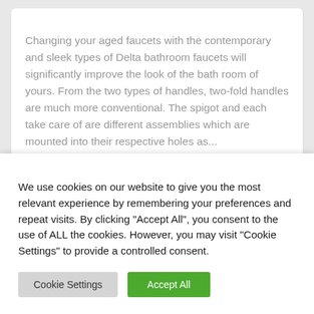Changing your aged faucets with the contemporary and sleek types of Delta bathroom faucets will significantly improve the look of the bath room of yours. From the two types of handles, two-fold handles are much more conventional. The spigot and each take care of are different assemblies which are mounted into their respective holes as...
We use cookies on our website to give you the most relevant experience by remembering your preferences and repeat visits. By clicking "Accept All", you consent to the use of ALL the cookies. However, you may visit "Cookie Settings" to provide a controlled consent.